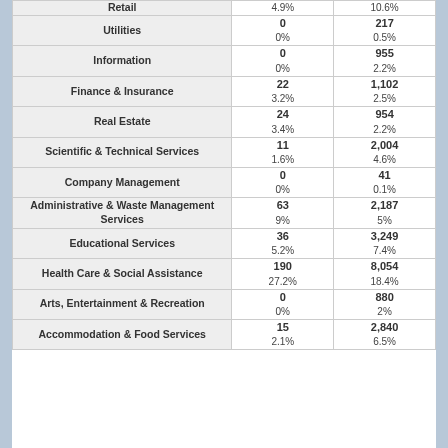| Industry | Col1 Count | Col1 Pct | Col2 Count | Col2 Pct |
| --- | --- | --- | --- | --- |
| Retail |  | 4.9% |  | 10.6% |
| Utilities | 0 | 0% | 217 | 0.5% |
| Information | 0 | 0% | 955 | 2.2% |
| Finance & Insurance | 22 | 3.2% | 1,102 | 2.5% |
| Real Estate | 24 | 3.4% | 954 | 2.2% |
| Scientific & Technical Services | 11 | 1.6% | 2,004 | 4.6% |
| Company Management | 0 | 0% | 41 | 0.1% |
| Administrative & Waste Management Services | 63 | 9% | 2,187 | 5% |
| Educational Services | 36 | 5.2% | 3,249 | 7.4% |
| Health Care & Social Assistance | 190 | 27.2% | 8,054 | 18.4% |
| Arts, Entertainment & Recreation | 0 | 0% | 880 | 2% |
| Accommodation & Food Services | 15 | 2.1% | 2,840 | 6.5% |